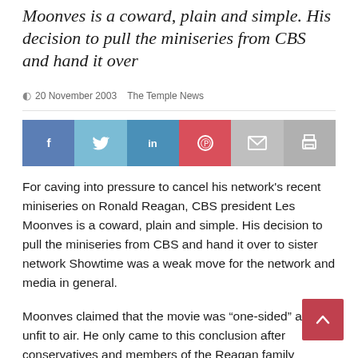Moonves is a coward, plain and simple. His decision to pull the miniseries from CBS and hand it over
20 November 2003   The Temple News
[Figure (infographic): Social sharing bar with buttons for Facebook, Twitter, LinkedIn, Pinterest, Email, and Print]
For caving into pressure to cancel his network's recent miniseries on Ronald Reagan, CBS president Les Moonves is a coward, plain and simple. His decision to pull the miniseries from CBS and hand it over to sister network Showtime was a weak move for the network and media in general.
Moonves claimed that the movie was “one-sided” and unfit to air. He only came to this conclusion after conservatives and members of the Reagan family complained.